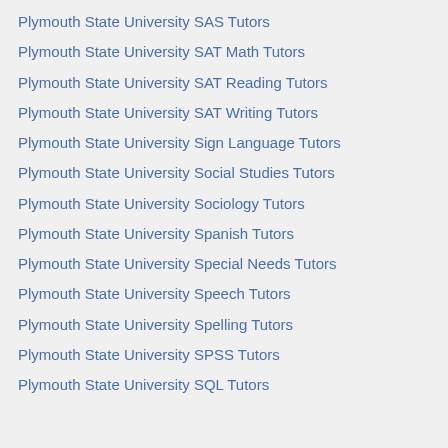Plymouth State University SAS Tutors
Plymouth State University SAT Math Tutors
Plymouth State University SAT Reading Tutors
Plymouth State University SAT Writing Tutors
Plymouth State University Sign Language Tutors
Plymouth State University Social Studies Tutors
Plymouth State University Sociology Tutors
Plymouth State University Spanish Tutors
Plymouth State University Special Needs Tutors
Plymouth State University Speech Tutors
Plymouth State University Spelling Tutors
Plymouth State University SPSS Tutors
Plymouth State University SQL Tutors